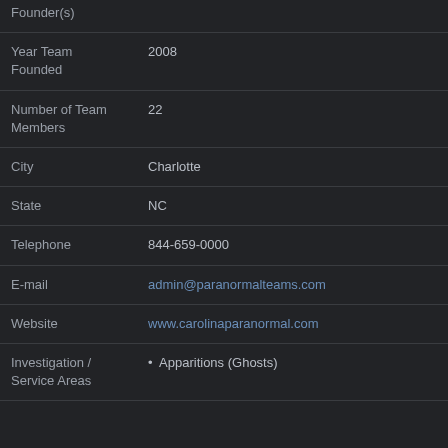| Field | Value |
| --- | --- |
| Founder(s) |  |
| Year Team Founded | 2008 |
| Number of Team Members | 22 |
| City | Charlotte |
| State | NC |
| Telephone | 844-659-0000 |
| E-mail | admin@paranormalteams.com |
| Website | www.carolinaparanormal.com |
| Investigation / Service Areas | • Apparitions (Ghosts) |